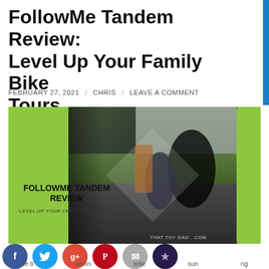FollowMe Tandem Review: Level Up Your Family Bike Tours
FEBRUARY 27, 2021 / CHRIS / LEAVE A COMMENT
[Figure (photo): Feature image for FollowMe Tandem Review blog post showing an adult and child riding bikes together on a path, with lime green chevron decorative shapes and text overlay reading 'FOLLOWME TANDEM REVIEW - LEVEL UP YOUR FAMILY BIKE TOURS'. Watermark reads 'THAT TOY DAD . COM'.]
[Figure (infographic): Social share icon row showing Facebook, Twitter, Google+, Pinterest, Email, and Crown icons at bottom of page, with partial text below.]